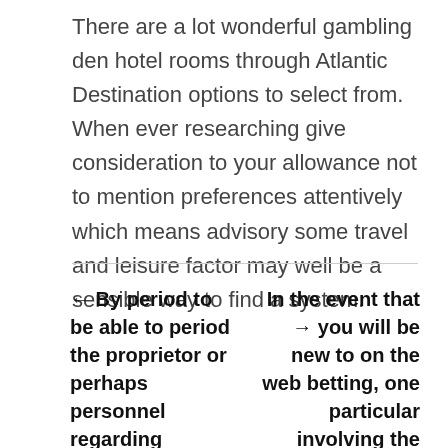There are a lot wonderful gambling den hotel rooms through Atlantic Destination options to select from. When ever researching give consideration to your allowance not to mention preferences attentively which means advisory some travel and leisure factor may well be a sensible way to find a system.
← By period to be able to period the proprietor or perhaps personnel regarding gaming properties create pretty interesting...
In the event that → you will be new to on the web betting, one particular involving the ideal bets tips is usually